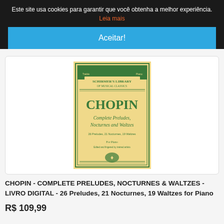Este site usa cookies para garantir que você obtenha a melhor experiência. Leia mais
Aceitar!
[Figure (photo): Book cover: Schirmer's Library of Musical Classics - Chopin Complete Preludes, Nocturnes and Waltzes. Yellow/cream cover with green decorative border and green lettering.]
CHOPIN - COMPLETE PRELUDES, NOCTURNES & WALTZES - LIVRO DIGITAL - 26 Preludes, 21 Nocturnes, 19 Waltzes for Piano
R$ 109,99